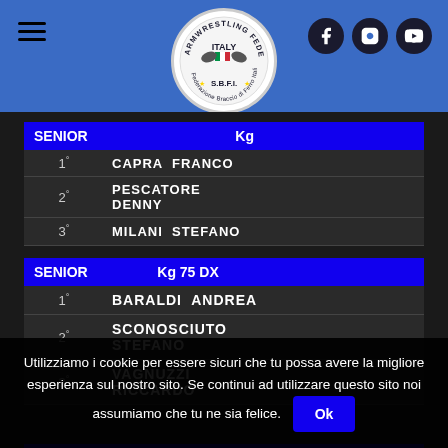[Figure (logo): SBFI Armwrestling Federation Italy circular logo with armwrestling figure]
| SENIOR | Kg |  |
| --- | --- | --- |
| 1° | CAPRA  FRANCO |  |
| 2° | PESCATORE  DENNY |  |
| 3° | MILANI  STEFANO |  |
| SENIOR | Kg 75 DX |  |
| --- | --- | --- |
| 1° | BARALDI  ANDREA |  |
| 2° | SCONOSCIUTO  STEFANO |  |
| 3° | VAGNUZZI  RICCARDO |  |
| SENIOR | Kg  80 DX |  |
| --- | --- | --- |
| 1° | VLADAL  ALEKSANDER |  |
Utilizziamo i cookie per essere sicuri che tu possa avere la migliore esperienza sul nostro sito. Se continui ad utilizzare questo sito noi assumiamo che tu ne sia felice. Ok